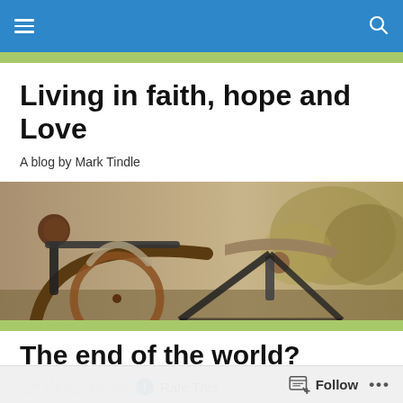Navigation bar with menu and search icons
Living in faith, hope and Love
A blog by Mark Tindle
[Figure (photo): Close-up photograph of a vintage bicycle handlebar, seat, and wheel against a blurred outdoor background with trees]
The end of the world?
Rate This
Follow